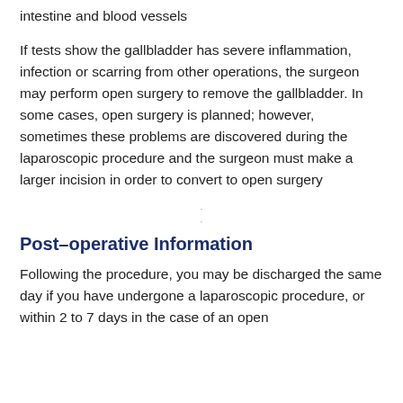intestine and blood vessels
If tests show the gallbladder has severe inflammation, infection or scarring from other operations, the surgeon may perform open surgery to remove the gallbladder. In some cases, open surgery is planned; however, sometimes these problems are discovered during the laparoscopic procedure and the surgeon must make a larger incision in order to convert to open surgery
Post-operative Information
Following the procedure, you may be discharged the same day if you have undergone a laparoscopic procedure, or within 2 to 7 days in the case of an open